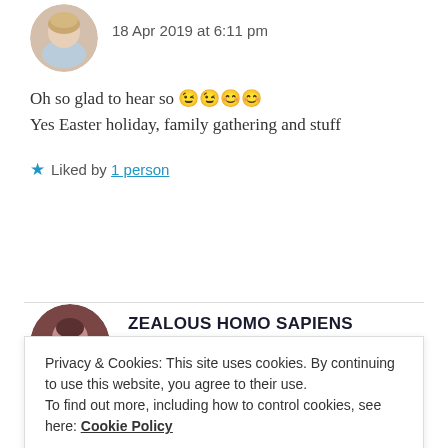18 Apr 2019 at 6:11 pm
Oh so glad to hear so 😉😉😊😊
Yes Easter holiday, family gathering and stuff
Liked by 1 person
ZEALOUS HOMO SAPIENS
18 Apr 2019 at 6:14 pm
Privacy & Cookies: This site uses cookies. By continuing to use this website, you agree to their use.
To find out more, including how to control cookies, see here: Cookie Policy
Close and accept